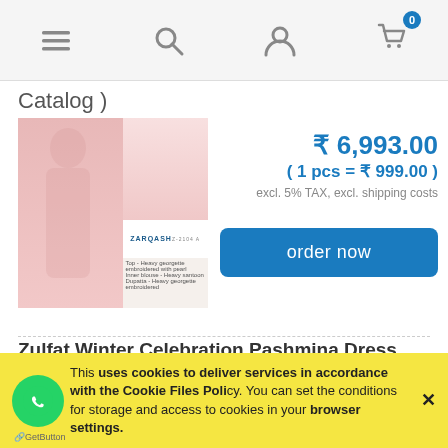Navigation bar with menu, search, user, and cart icons
Catalog )
[Figure (photo): Product photo of Zarqash pink dress/kurti catalog Z-2104 A showing two model images and fabric description]
₹ 6,993.00
( 1 pcs = ₹ 999.00 )
excl. 5% TAX, excl. shipping costs
order now
Zulfat Winter Celebration Pashmina Dress Material
( 10 Pcs Catalog )
This [site] uses cookies to deliver services in accordance with the Cookie Files Policy. You can set the conditions for storage and access to cookies in your browser settings. ✕